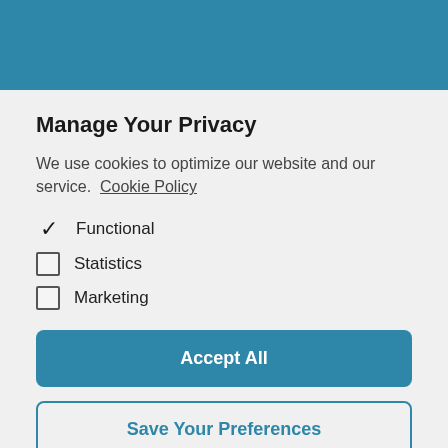[Figure (other): Teal/blue decorative header banner]
Manage Your Privacy
We use cookies to optimize our website and our service.  Cookie Policy
✔ Functional
☐ Statistics
☐ Marketing
Accept All
Save Your Preferences